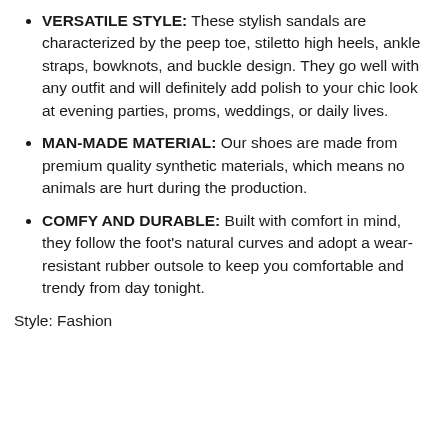VERSATILE STYLE: These stylish sandals are characterized by the peep toe, stiletto high heels, ankle straps, bowknots, and buckle design. They go well with any outfit and will definitely add polish to your chic look at evening parties, proms, weddings, or daily lives.
MAN-MADE MATERIAL: Our shoes are made from premium quality synthetic materials, which means no animals are hurt during the production.
COMFY AND DURABLE: Built with comfort in mind, they follow the foot's natural curves and adopt a wear-resistant rubber outsole to keep you comfortable and trendy from day tonight.
Style: Fashion